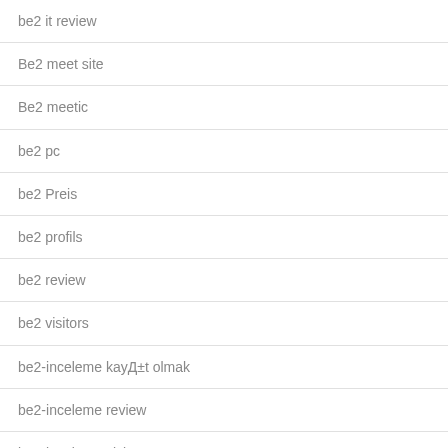be2 it review
Be2 meet site
Be2 meetic
be2 pc
be2 Preis
be2 profils
be2 review
be2 visitors
be2-inceleme kayД±t olmak
be2-inceleme review
be2-inceleme visitors
be2_NL reviews